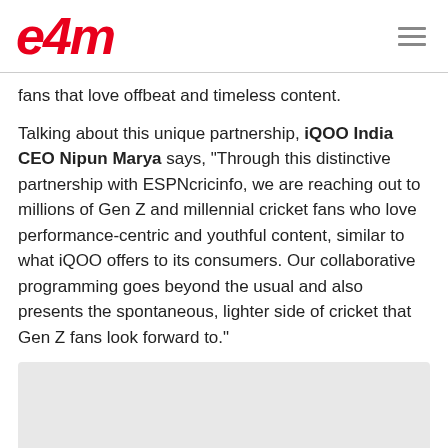e4m
fans that love offbeat and timeless content.
Talking about this unique partnership, iQOO India CEO Nipun Marya says, “Through this distinctive partnership with ESPNcricinfo, we are reaching out to millions of Gen Z and millennial cricket fans who love performance-centric and youthful content, similar to what iQOO offers to its consumers. Our collaborative programming goes beyond the usual and also presents the spontaneous, lighter side of cricket that Gen Z fans look forward to.”
[Figure (other): Gray placeholder box at bottom of page]